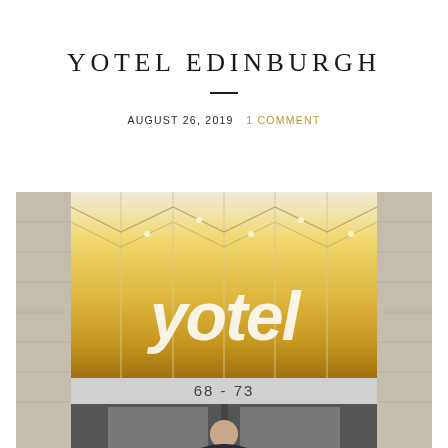YOTEL EDINBURGH
AUGUST 26, 2019  1 COMMENT
[Figure (photo): Exterior photo of Yotel Edinburgh hotel entrance. Shows the glass-fronted facade with warm golden lighting inside, the Yotel logo displayed prominently in white italic lettering, stone walls on either side, a number strip reading '68 - 73', dark door frame at the bottom, and a person standing in front of the entrance.]